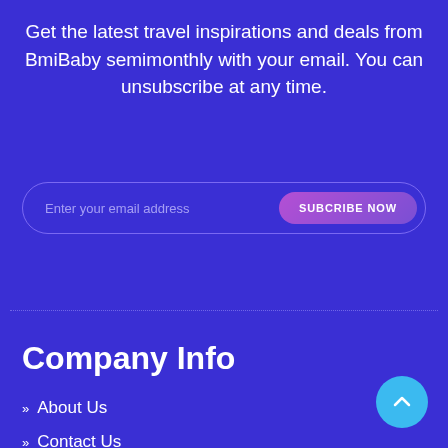Get the latest travel inspirations and deals from BmiBaby semimonthly with your email. You can unsubscribe at any time.
Enter your email address   SUBCRIBE NOW
Company Info
>> About Us
>> Contact Us